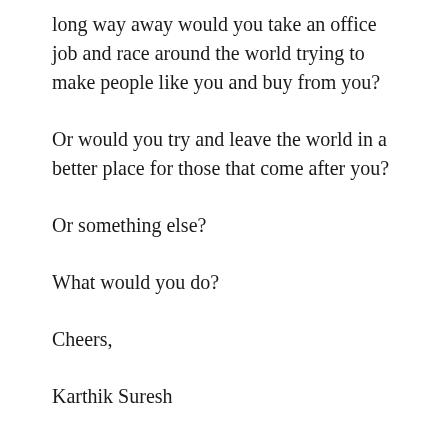long way away would you take an office job and race around the world trying to make people like you and buy from you?
Or would you try and leave the world in a better place for those that come after you?
Or something else?
What would you do?
Cheers,
Karthik Suresh